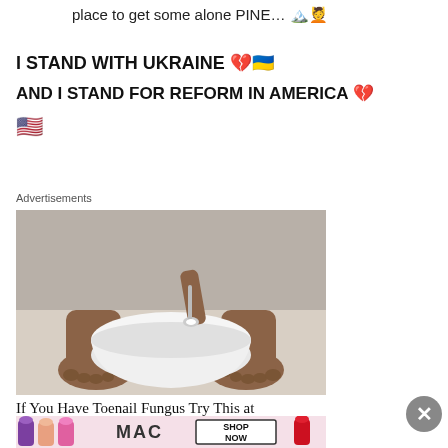place to get some alone PINE… 🏔️💆
I STAND WITH UKRAINE 💔🇺🇦
AND I STAND FOR REFORM IN AMERICA 💔
🇺🇸
Advertisements
[Figure (photo): Person's bare feet next to a white bowl, with a hand holding a spoon over the bowl — toenail fungus remedy advertisement image]
If You Have Toenail Fungus Try This at Home (It's Genius!)
Advertisements
[Figure (photo): MAC cosmetics advertisement showing lipsticks and 'SHOP NOW' text]